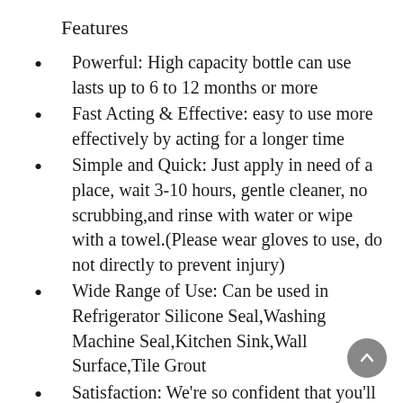Features
Powerful: High capacity bottle can use lasts up to 6 to 12 months or more
Fast Acting & Effective: easy to use more effectively by acting for a longer time
Simple and Quick: Just apply in need of a place, wait 3-10 hours, gentle cleaner, no scrubbing,and rinse with water or wipe with a towel.(Please wear gloves to use, do not directly to prevent injury)
Wide Range of Use: Can be used in Refrigerator Silicone Seal,Washing Machine Seal,Kitchen Sink,Wall Surface,Tile Grout
Satisfaction: We're so confident that you'll